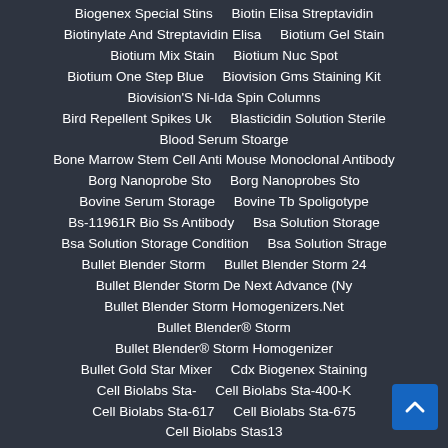Biogenex Special Stins
Biotin Elisa Streptavidin
Biotinylate And Streptavidin Elisa
Biotium Gel Stain
Biotium Mix Stain
Biotium Nuc Spot
Biotium One Step Blue
Biovision Gms Staining Kit
Biovision'S Ni-Ida Spin Columns
Bird Repellent Spikes Uk
Blasticidin Solution Sterile
Blood Serum Stoarge
Bone Marrow Stem Cell Anti Mouse Monoclonal Antibody
Borg Nanoprobe Sto
Borg Nanoprobes Sto
Bovine Serum Storage
Bovine Tb Spoligotype
Bs-11961R Bio Ss Antibody
Bsa Solution Storage
Bsa Solution Storage Condition
Bsa Solution Strage
Bullet Blender Storm
Bullet Blender Storm 24
Bullet Blender Storm De Next Advance (Ny
Bullet Blender Storm Homogenizers.Net
Bullet Blender® Storm
Bullet Blender® Storm Homogenizer
Bullet Gold Star Mixer
Cdx Biogenex Staining
Cell Biolabs Sta-
Cell Biolabs Sta-400-K
Cell Biolabs Sta-617
Cell Biolabs Sta-675
Cell Biolabs Stas13
Chicken Serum Storage Temperature -80
Cignal Assay Srebp Luciferase
Cmv Antibody Stai
Collagen Assay Standards
Comcrete Post Spikes
Contact Us
Corner Seagull Spikes